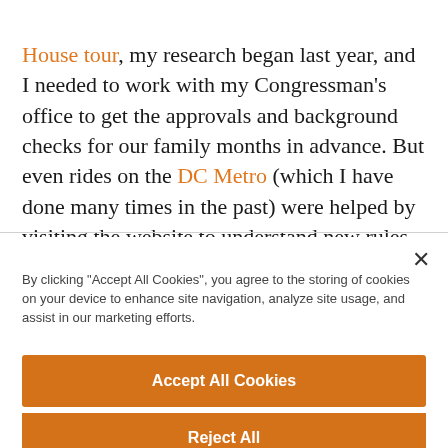House tour, my research began last year, and I needed to work with my Congressman's office to get the approvals and background checks for our family months in advance. But even rides on the DC Metro (which I have done many times in the past) were helped by visiting the website to understand new rules, fares and travel routes.
By clicking "Accept All Cookies", you agree to the storing of cookies on your device to enhance site navigation, analyze site usage, and assist in our marketing efforts.
Accept All Cookies
Reject All
Cookies Settings